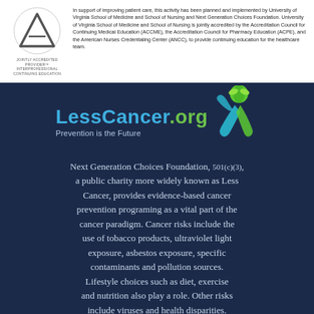[Figure (logo): Jointly Accredited Provider logo — circular triangle symbol with text 'JOINTLY ACCREDITED PROVIDER' and 'INTERPROFESSIONAL CONTINUING EDUCATION']
In support of improving patient care, this activity has been planned and implemented by University of Virginia School of Medicine and School of Nursing and Next Generation Choices Foundation. University of Virginia School of Medicine and School of Nursing is jointly accredited by the Accreditation Council for Continuing Medical Education (ACCME), the Accreditation Council for Pharmacy Education (ACPE), and the American Nurses Credentialing Center (ANCC), to provide continuing education for the healthcare team.
[Figure (logo): LessCancer.org logo with green plant/leaf globe icon on top of a stylized human figure with teal and green swooshes, brand name 'LessCancer.org' in blue and green, tagline 'Prevention is the Future' in light blue]
Next Generation Choices Foundation, 501(c)(3), a public charity more widely known as Less Cancer, provides evidence-based cancer prevention programing as a vital part of the cancer paradigm. Cancer risks include the use of tobacco products, ultraviolet light exposure, asbestos exposure, specific contaminants and pollution sources. Lifestyle choices such as diet, exercise and nutrition also play a role. Other risks include viruses and health disparities.